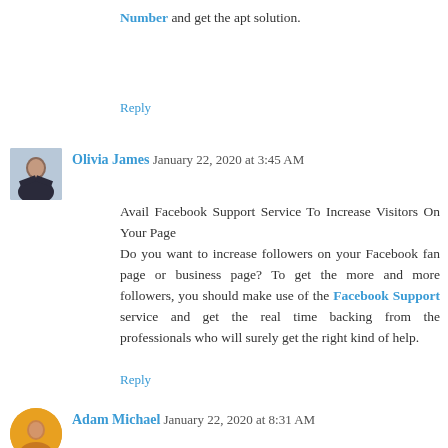Number and get the apt solution.
Reply
Olivia James  January 22, 2020 at 3:45 AM
Avail Facebook Support Service To Increase Visitors On Your Page
Do you want to increase followers on your Facebook fan page or business page? To get the more and more followers, you should make use of the Facebook Support service and get the real time backing from the professionals who will surely get the right kind of help.
Reply
Adam Michael  January 22, 2020 at 8:31 AM